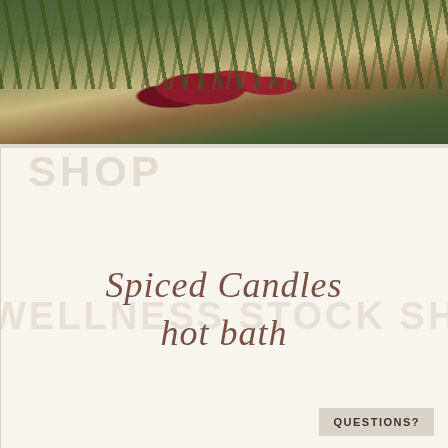[Figure (photo): Decorative holiday/wellness photo showing plants, succulents, pine branches, and red ornaments or berries on a warm surface]
SHOP
Spiced Candles
hot bath
WELLNESS STOCK SH
QUESTIONS?